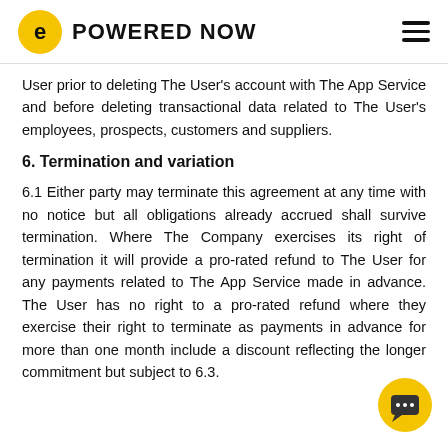POWERED NOW
User prior to deleting The User's account with The App Service and before deleting transactional data related to The User's employees, prospects, customers and suppliers.
6. Termination and variation
6.1 Either party may terminate this agreement at any time with no notice but all obligations already accrued shall survive termination. Where The Company exercises its right of termination it will provide a pro-rated refund to The User for any payments related to The App Service made in advance. The User has no right to a pro-rated refund where they exercise their right to terminate as payments in advance for more than one month include a discount reflecting the longer commitment but subject to 6.3.